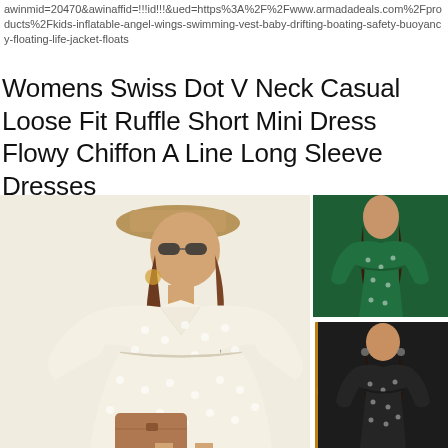awinmid=20470&awinaffid=!!!id!!!&ued=https%3A%2F%2Fwww.armadadeals.com%2Fproducts%2Fkids-inflatable-angel-wings-swimming-vest-baby-drifting-boating-safety-buoyancy-floating-life-jacket-floats
Womens Swiss Dot V Neck Casual Loose Fit Ruffle Short Mini Dress Flowy Chiffon A Line Long Sleeve Dresses
[Figure (photo): Product photo showing a women's Swiss dot chiffon dress in four colors: cream/white (large main image, model wearing it), green (top right), yellow/mustard (bottom middle), and black (bottom right). The main image shows a woman with sunglasses and a tan hat holding a brown clutch purse.]